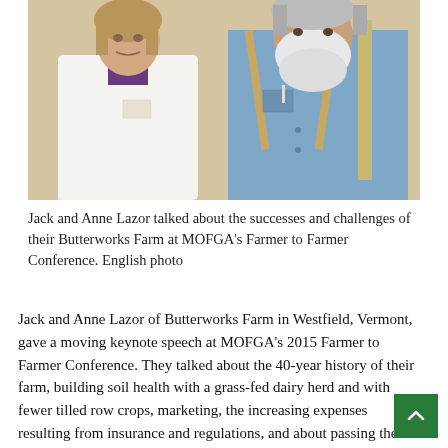[Figure (photo): Jack and Anne Lazor standing together indoors. Anne on the left wearing a white shirt, Jack on the right with a white beard wearing a blue chambray shirt with suspenders.]
Jack and Anne Lazor talked about the successes and challenges of their Butterworks Farm at MOFGA's Farmer to Farmer Conference. English photo
Jack and Anne Lazor of Butterworks Farm in Westfield, Vermont, gave a moving keynote speech at MOFGA's 2015 Farmer to Farmer Conference. They talked about the 40-year history of their farm, building soil health with a grass-fed dairy herd and with fewer tilled row crops, marketing, the increasing expenses resulting from insurance and regulations, and about passing their business on to the next generation. The Lazors started